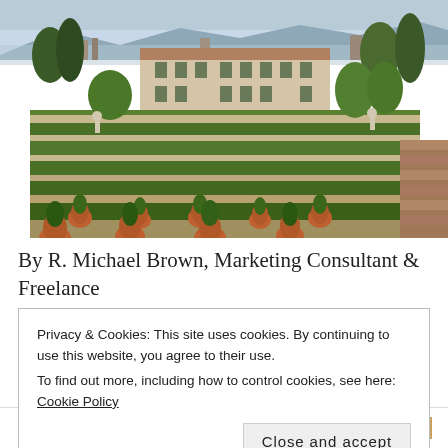[Figure (photo): Aerial view of an Italian Renaissance villa with formal hedge gardens, terracotta pots with citrus trees, a large manor house with red tile roof, and a city skyline with mountains in the background]
By R. Michael Brown, Marketing Consultant & Freelance Writer, Multimedia Producer. Most Some additional text partially obscured
Privacy & Cookies: This site uses cookies. By continuing to use this website, you agree to their use. To find out more, including how to control cookies, see here: Cookie Policy
Close and accept
READ MORE